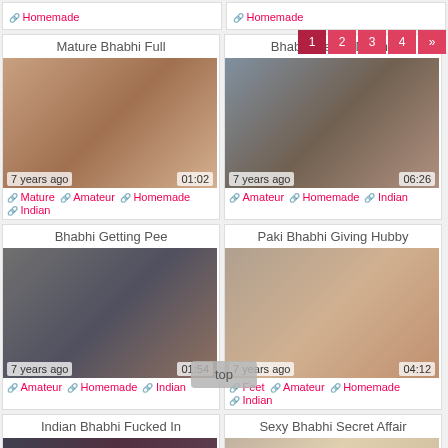🔗 Homemade
🔗 Homemade
[Figure (other): Video thumbnail grid showing adult content listings with titles, timestamps, durations, and category tags]
Pagination: 1 2 3 4 »
top